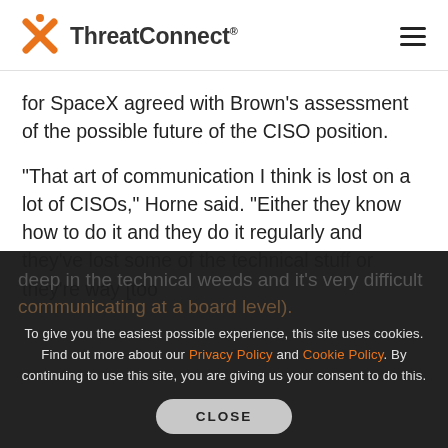ThreatConnect
for SpaceX agreed with Brown's assessment of the possible future of the CISO position.
“That art of communication I think is lost on a lot of CISOs,” Horne said. “Either they know how to do it and they do it regularly and they’ve lost some of the technical stuff or they’re way [too deep in the technical weeds and it’s very difficult communicating at a board level].
To give you the easiest possible experience, this site uses cookies. Find out more about our Privacy Policy and Cookie Policy. By continuing to use this site, you are giving us your consent to do this.